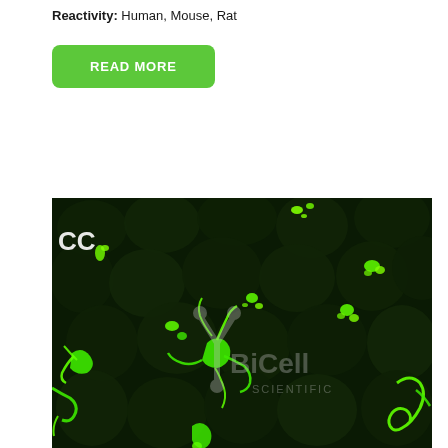Reactivity: Human, Mouse, Rat
READ MORE
[Figure (photo): Fluorescence microscopy image showing bright green fluorescent staining against a dark green background, with 'CC' label visible in upper left and BiCell Scientific watermark overlaid in the center]